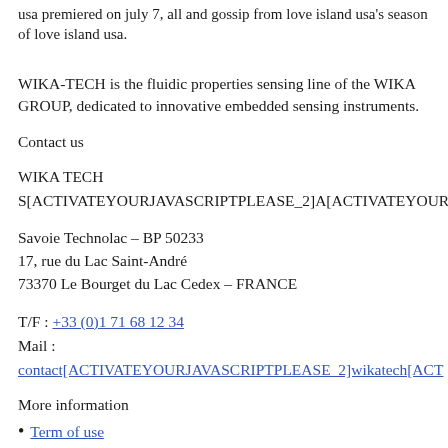usa premiered on july 7, all and gossip from love island usa's season of love island usa.
WIKA-TECH is the fluidic properties sensing line of the WIKA GROUP, dedicated to innovative embedded sensing instruments.
Contact us
WIKA TECH S[ACTIVATEYOURJAVASCRIPTPLEASE_2]A[ACTIVATEYOUR...
Savoie Technolac – BP 50233
17, rue du Lac Saint-André
73370 Le Bourget du Lac Cedex – FRANCE
T/F : +33 (0)1 71 68 12 34
Mail : contact[ACTIVATEYOURJAVASCRIPTPLEASE_2]wikatech[ACT...
More information
Term of use